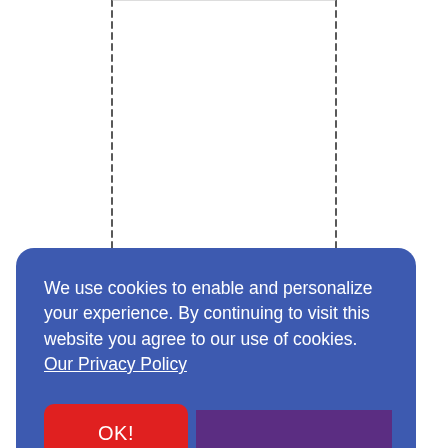[Figure (screenshot): White background area with two vertical dashed black lines forming a rectangular boundary in the upper portion of the page]
We use cookies to enable and personalize your experience. By continuing to visit this website you agree to our use of cookies. Our Privacy Policy
OK!